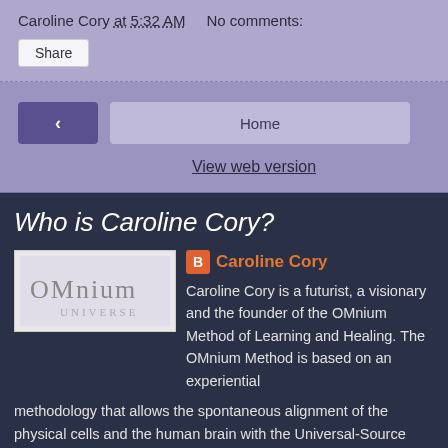Caroline Cory at 5:32 AM   No comments:
Share
‹   Home   View web version
Who is Caroline Cory?
Caroline Cory
Caroline Cory is a futurist, a visionary and the founder of the OMnium Method of Learning and Healing. The OMnium Method is based on an experiential methodology that allows the spontaneous alignment of the physical cells and the human brain with the Universal-Source frequency. This method provides an instant and permanent cellular reprogramming to the original blueprint so that healing or learning may occur organically. Caroline currently teaches the OMnium Method of Learning and Healing - which is based purely on vibrational